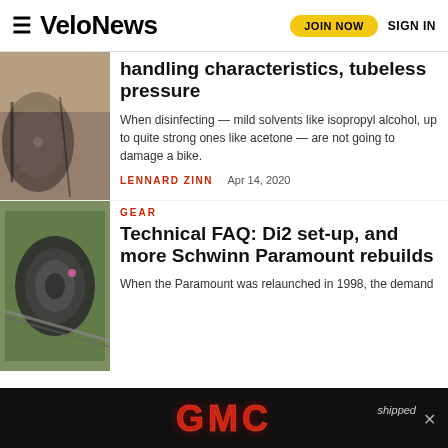VeloNews — JOIN NOW | SIGN IN
[Figure (photo): Close-up of a bicycle tire against a stone wall background]
handling characteristics, tubeless pressure
When disinfecting — mild solvents like isopropyl alcohol, up to quite strong ones like acetone — are not going to damage a bike.
LENNARD ZINN    Apr 14, 2020
[Figure (photo): Close-up of a bicycle drivetrain/cassette and chain]
GEAR
Technical FAQ: Di2 set-up, and more Schwinn Paramount rebuilds
When the Paramount was relaunched in 1998, the demand
[Figure (photo): GMC advertisement banner in black background]